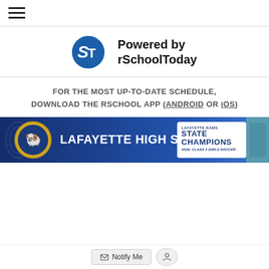≡ (hamburger menu icon)
[Figure (logo): rSchoolToday logo — circular blue icon with stylized 'ST' letters in white, next to text 'Powered by rSchoolToday']
FOR THE MOST UP-TO-DATE SCHEDULE, DOWNLOAD THE RSCHOOL APP (ANDROID OR iOS)
[Figure (photo): Lafayette High School banner with school logo (ram mascot in gold circle), white bold text 'LAFAYETTE HIGH SCHOOL', and a 'State Champions VHSL Class 3 Girls Soccer' badge on white background, with photo of team on right side]
Notify Me button at bottom